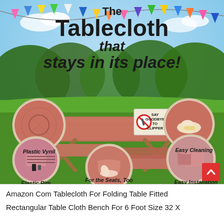[Figure (photo): Product advertisement image for a fitted picnic tablecloth. Shows a wooden picnic table and benches covered in a salmon/pink fitted tablecloth in a park/garden setting with green grass and trees. Colorful party bunting flags hang across the top. Text overlay reads 'The Tablecloth that stays in its place!' with circular callout images showing: Plastic Vynil texture, Elastic Rim close-up, Easy Cleaning demonstration, Easy Installation, For the Seats Too. Center sign shows no-clipper symbol with text 'SAY GOODBYE TO CLIPPER'.]
Amazon Com Tablecloth For Folding Table Fitted Rectangular Table Cloth Bench For 6 Foot Size 32 X